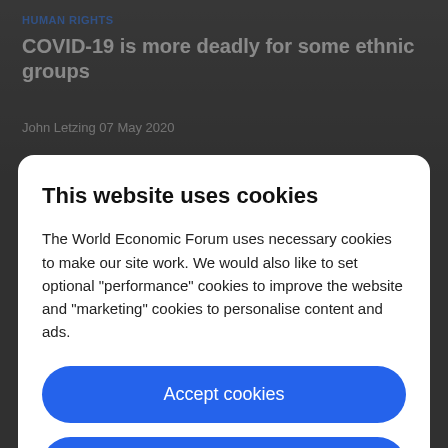HUMAN RIGHTS
COVID-19 is more deadly for some ethnic groups
John Letzing 07 May 2020
This website uses cookies
The World Economic Forum uses necessary cookies to make our site work. We would also like to set optional "performance" cookies to improve the website and "marketing" cookies to personalise content and ads.
Accept cookies
Reject cookies
Cookie settings